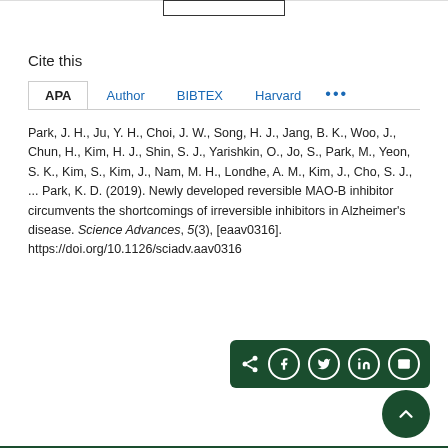Cite this
Park, J. H., Ju, Y. H., Choi, J. W., Song, H. J., Jang, B. K., Woo, J., Chun, H., Kim, H. J., Shin, S. J., Yarishkin, O., Jo, S., Park, M., Yeon, S. K., Kim, S., Kim, J., Nam, M. H., Londhe, A. M., Kim, J., Cho, S. J., ... Park, K. D. (2019). Newly developed reversible MAO-B inhibitor circumvents the shortcomings of irreversible inhibitors in Alzheimer's disease. Science Advances, 5(3), [eaav0316]. https://doi.org/10.1126/sciadv.aav0316